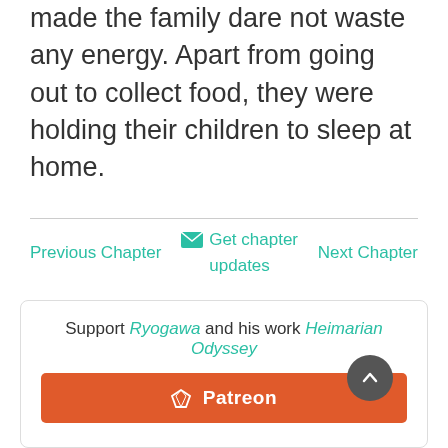made the family dare not waste any energy. Apart from going out to collect food, they were holding their children to sleep at home.
Previous Chapter
✉ Get chapter updates
Next Chapter
Support Ryogawa and his work Heimarian Odyssey
♦ Patreon